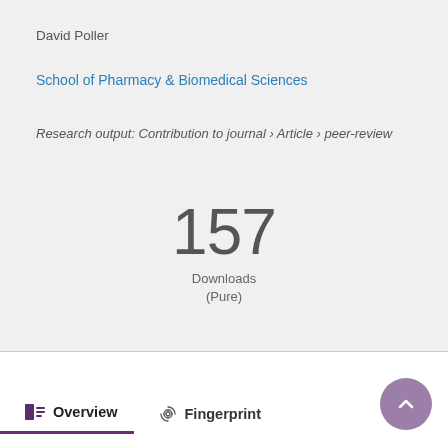David Poller
School of Pharmacy & Biomedical Sciences
Research output: Contribution to journal › Article › peer-review
[Figure (infographic): Large number 157 with label 'Downloads (Pure)' centered on the page]
Overview   Fingerprint